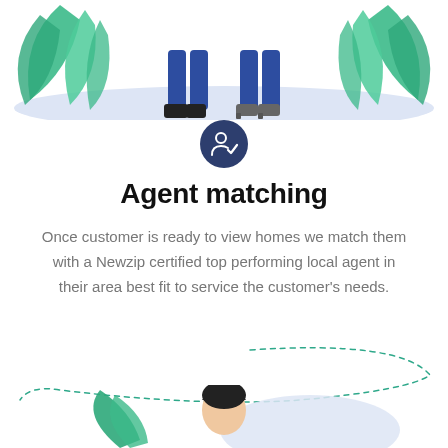[Figure (illustration): Top portion of an illustration showing two figures (people) standing with green tropical leaves/plants on either side, on a light blue/lavender ground. Only the lower halves of the figures are visible — one in blue pants and dark shoes, one in blue pants and heeled shoes.]
[Figure (illustration): Dark navy circular icon with a white person/agent checkmark symbol inside.]
Agent matching
Once customer is ready to view homes we match them with a Newzip certified top performing local agent in their area best fit to service the customer's needs.
[Figure (illustration): A teal/green dashed curved decorative line sweeping across the page.]
[Figure (illustration): Bottom portion of an illustration showing the top of a person's head with dark hair, a light blue/lavender oval shape, and a small green leaf on the left side.]